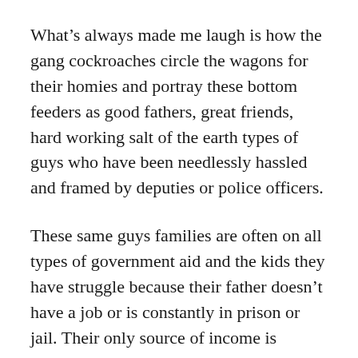What's always made me laugh is how the gang cockroaches circle the wagons for their homies and portray these bottom feeders as good fathers, great friends, hard working salt of the earth types of guys who have been needlessly hassled and framed by deputies or police officers.
These same guys families are often on all types of government aid and the kids they have struggle because their father doesn't have a job or is constantly in prison or jail. Their only source of income is terrorizing and robbing actual loving hard working people working hard every day to take care of their families.